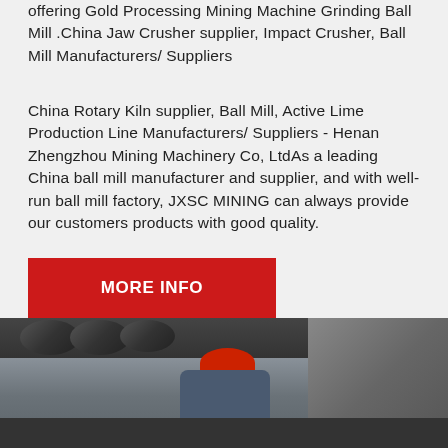offering Gold Processing Mining Machine Grinding Ball Mill .China Jaw Crusher supplier, Impact Crusher, Ball Mill Manufacturers/ Suppliers
China Rotary Kiln supplier, Ball Mill, Active Lime Production Line Manufacturers/ Suppliers - Henan Zhengzhou Mining Machinery Co, LtdAs a leading China ball mill manufacturer and supplier, and with well-run ball mill factory, JXSC MINING can always provide our customers products with good quality.
[Figure (other): Red button/banner with text MORE INFO]
[Figure (photo): Industrial photo showing a worker in a red hard hat bent over heavy mining machinery, with large cylindrical pipes and metal equipment visible in the background]